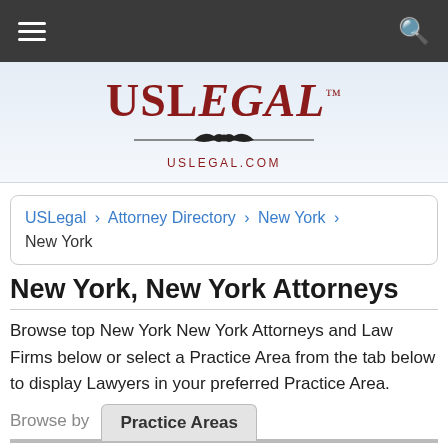USLegal navigation bar with hamburger menu and search icon
[Figure (logo): USLegal logo with eagle emblem and USLEGAL.COM URL text]
USLegal > Attorney Directory > New York > New York
New York, New York Attorneys
Browse top New York New York Attorneys and Law Firms below or select a Practice Area from the tab below to display Lawyers in your preferred Practice Area.
Browse by  Practice Areas